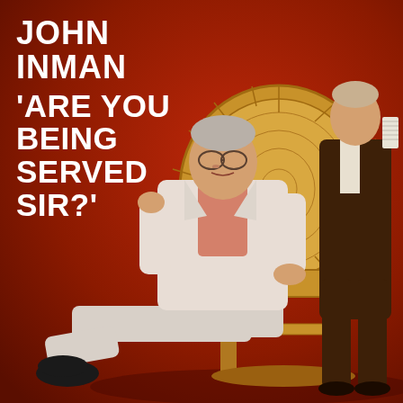[Figure (photo): Album cover showing two men against a red background. One man is seated in a large wicker peacock chair wearing a light pink/white blazer over a patterned shirt with white trousers and black shoes. The other man stands behind the chair wearing a dark brown suit, holding what appears to be a handkerchief or small white fabric item.]
JOHN INMAN
'ARE YOU BEING SERVED SIR?'